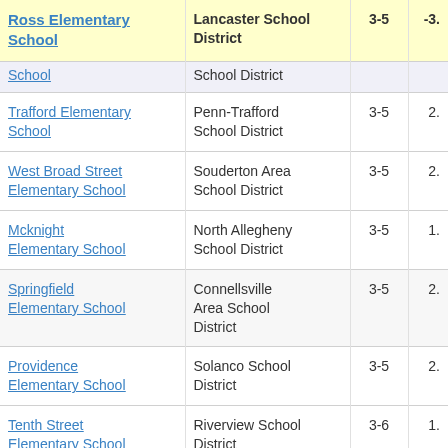| School | District | Grades | Score |
| --- | --- | --- | --- |
| Ross Elementary School | Lancaster School District | 3-5 | -3. |
| School | School District |  |  |
| Trafford Elementary School | Penn-Trafford School District | 3-5 | 2. |
| West Broad Street Elementary School | Souderton Area School District | 3-5 | 2. |
| Mcknight Elementary School | North Allegheny School District | 3-5 | 1. |
| Springfield Elementary School | Connellsville Area School District | 3-5 | 2. |
| Providence Elementary School | Solanco School District | 3-5 | 2. |
| Tenth Street Elementary School | Riverview School District | 3-6 | 1. |
| Brownsville Area Elementary School | Brownsville Area School District | 3-5 | 1. |